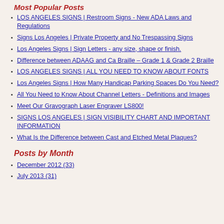Most Popular Posts
LOS ANGELES SIGNS | Restroom Signs - New ADA Laws and Regulations
Signs Los Angeles | Private Property and No Trespassing Signs
Los Angeles Signs | Sign Letters - any size, shape or finish.
Difference between ADAAG and Ca Braille – Grade 1 & Grade 2 Braille
LOS ANGELES SIGNS | ALL YOU NEED TO KNOW ABOUT FONTS
Los Angeles Signs | How Many Handicap Parking Spaces Do You Need?
All You Need to Know About Channel Letters - Definitions and Images
Meet Our Gravograph Laser Engraver LS800!
SIGNS LOS ANGELES | SIGN VISIBILITY CHART AND IMPORTANT INFORMATION
What Is the Difference between Cast and Etched Metal Plaques?
Posts by Month
December 2012 (33)
July 2013 (31)